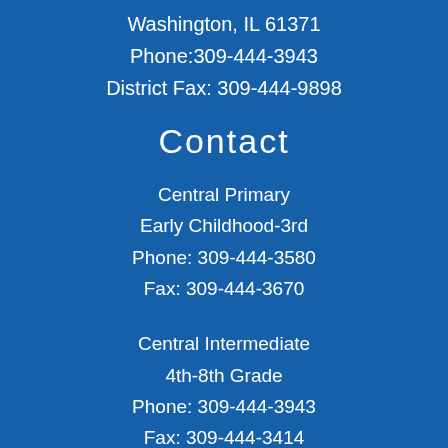Washington, IL 61571
Phone:309-444-3943
District Fax: 309-444-9898
Contact
Central Primary
Early Childhood-3rd
Phone: 309-444-3580
Fax: 309-444-3670
Central Intermediate
4th-8th Grade
Phone: 309-444-3943
Fax: 309-444-3414